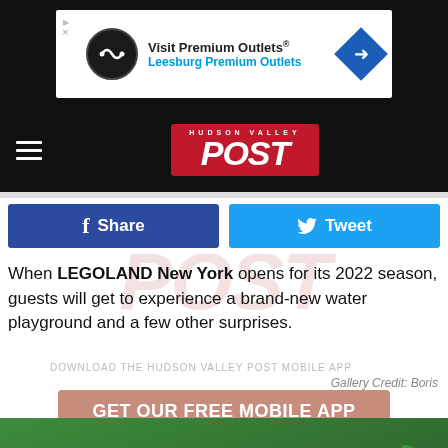[Figure (other): Premium Outlets advertisement banner at top of page. Shows logo, 'Visit Premium Outlets® Leesburg Premium Outlets' text and navigation arrow icon.]
[Figure (logo): Hudson Valley POST logo in red box with white text, on black navigation bar with hamburger menu.]
[Figure (other): Facebook Share button (dark blue) and Twitter Tweet button (light blue) side by side.]
When LEGOLAND New York opens for its 2022 season, guests will get to experience a brand-new water playground and a few other surprises.
DOWNLOAD THE HUDSON VALLEY POST MOBILE APP
Gallery Credit: Boris
GET OUR FREE MOBILE APP
[Figure (photo): LEGO CITY Water Playground sign photo with green tropical foliage in background.]
[Figure (other): Premium Outlets advertisement at bottom. 'Save Up to 65%' and 'Leesburg Premium Outlets'.]